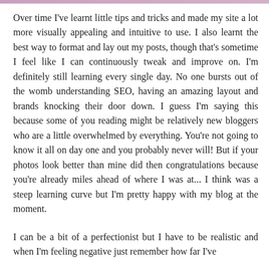[Figure (photo): Partial image strip visible at the very top of the page]
Over time I've learnt little tips and tricks and made my site a lot more visually appealing and intuitive to use. I also learnt the best way to format and lay out my posts, though that's sometime I feel like I can continuously tweak and improve on. I'm definitely still learning every single day. No one bursts out of the womb understanding SEO, having an amazing layout and brands knocking their door down. I guess I'm saying this because some of you reading might be relatively new bloggers who are a little overwhelmed by everything. You're not going to know it all on day one and you probably never will! But if your photos look better than mine did then congratulations because you're already miles ahead of where I was at... I think was a steep learning curve but I'm pretty happy with my blog at the moment.
I can be a bit of a perfectionist but I have to be realistic and when I'm feeling negative just remember how far I've